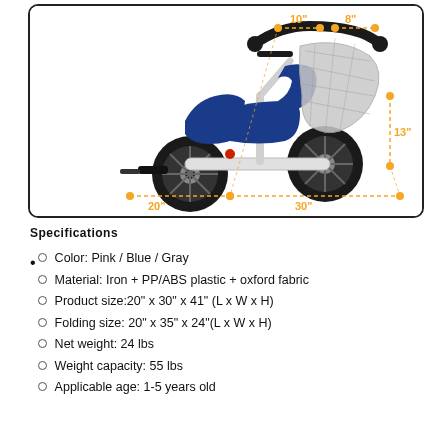[Figure (photo): Blue children's tricycle/stroller with dimension annotations in orange dashed lines showing 10", 8", 13", 20", and 30" measurements.]
Specifications
Color: Pink / Blue / Gray
Material: Iron + PP/ABS plastic + oxford fabric
Product size:20" x 30" x 41" (L x W x H)
Folding size: 20" x 35" x 24"(L x W x H)
Net weight: 24 lbs
Weight capacity: 55 lbs
Applicable age: 1-5 years old